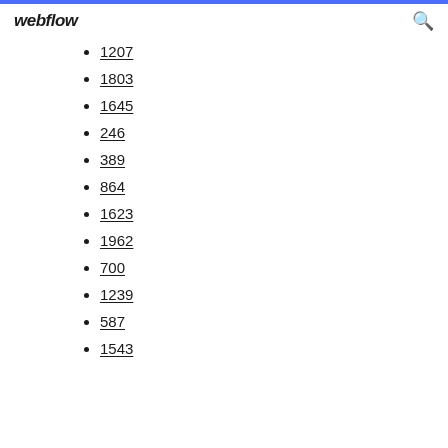webflow
1207
1803
1645
246
389
864
1623
1962
700
1239
587
1543